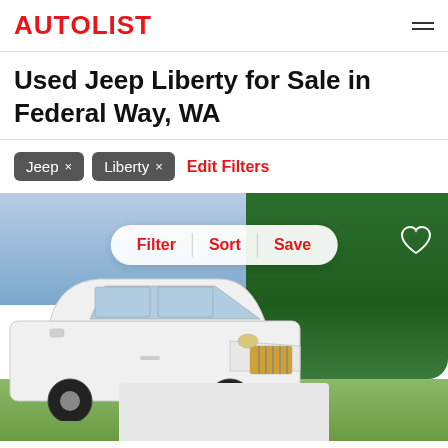AUTOLIST
Used Jeep Liberty for Sale in Federal Way, WA
Jeep × Liberty × Edit Filters
[Figure (photo): A white Jeep Liberty SUV parked outdoors with green trees in the background. An overlay bar shows Filter, Sort, and Save buttons. A heart (favorite) icon appears in the top right. A card placeholder is visible at the bottom.]